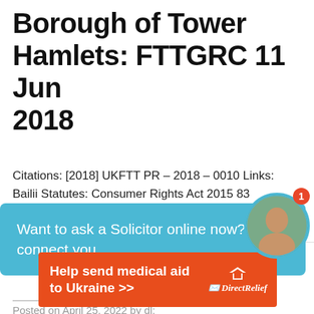Borough of Tower Hamlets: FTTGRC 11 Jun 2018
Citations: [2018] UKFTT PR – 2018 – 0010 Links: Bailii Statutes: Consumer Rights Act 2015 83 Jurisdiction: England and Wales Housing Updated: 25 April 2022; Ref: scu.619940
Posted on April 25, 2022 by dl:
[Figure (screenshot): Chat bubble overlay: 'Want to ask a Solicitor online now? I can connect you ...' with avatar photo of a woman and a red badge showing '1']
[Figure (infographic): Orange banner advertisement: 'Help send medical aid to Ukraine >>' with Direct Relief logo on the right]